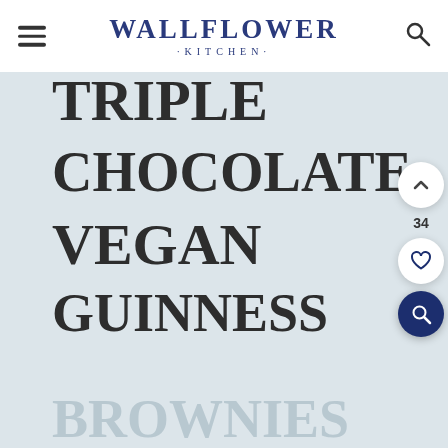WALLFLOWER KITCHEN
TRIPLE CHOCOLATE VEGAN GUINNESS BROWNIES